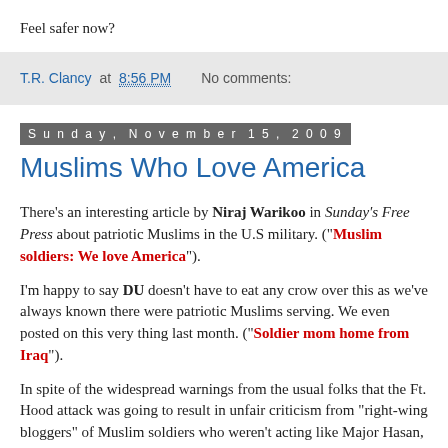Feel safer now?
T.R. Clancy at 8:56 PM    No comments:
Sunday, November 15, 2009
Muslims Who Love America
There's an interesting article by Niraj Warikoo in Sunday's Free Press about patriotic Muslims in the U.S military. ("Muslim soldiers: We love America").
I'm happy to say DU doesn't have to eat any crow over this as we've always known there were patriotic Muslims serving. We even posted on this very thing last month. ("Soldier mom home from Iraq").
In spite of the widespread warnings from the usual folks that the Ft. Hood attack was going to result in unfair criticism from "right-wing bloggers" of Muslim soldiers who weren't acting like Major Hasan, I never believed that kind of wide-